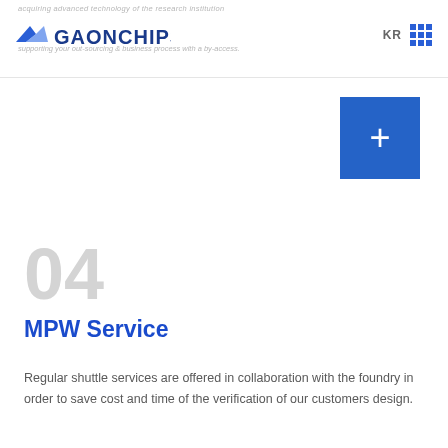acquiring advanced technology of the research institution supporting your out-sourcing & business process with a by-access.
[Figure (logo): Gaonchips logo with wing icon and wordmark in dark blue]
[Figure (other): Blue square button with white plus sign]
04
MPW Service
Regular shuttle services are offered in collaboration with the foundry in order to save cost and time of the verification of our customers design.